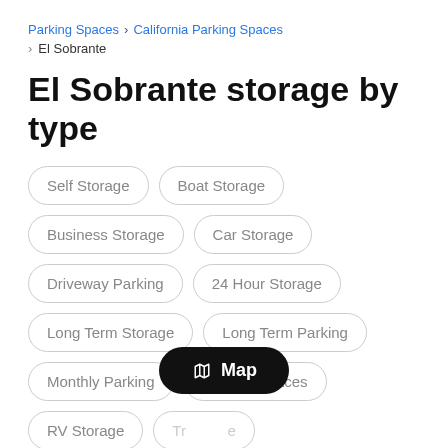Parking Spaces > California Parking Spaces > El Sobrante
El Sobrante storage by type
Self Storage
Boat Storage
Business Storage
Car Storage
Driveway Parking
24 Hour Storage
Long Term Storage
Long Term Parking
Monthly Parking
Parking Spaces
RV Storage
Truck Storage
Truck Storage